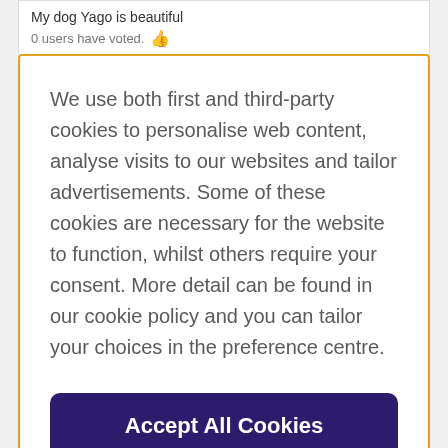My dog Yago is beautiful
0 users have voted. 👍
We use both first and third-party cookies to personalise web content, analyse visits to our websites and tailor advertisements. Some of these cookies are necessary for the website to function, whilst others require your consent. More detail can be found in our cookie policy and you can tailor your choices in the preference centre.
Accept All Cookies
Cookies Settings